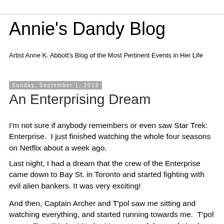Annie's Dandy Blog
Artist Anne K. Abbott's Blog of the Most Pertinent Events in Her Life
Sunday, September 1, 2013
An Enterprising Dream
I'm not sure if anybody remembers or even saw Star Trek: Enterprise.  I just finished watching the whole four seasons on Netflix about a week ago.
Last night, I had a dream that the crew of the Enterprise came down to Bay St. in Toronto and started fighting with evil alien bankers. It was very exciting!
And then, Captain Archer and T'pol saw me sitting and watching everything, and started running towards me.  T'pol was yelling, "It's her! It's her! I must touch her and give her